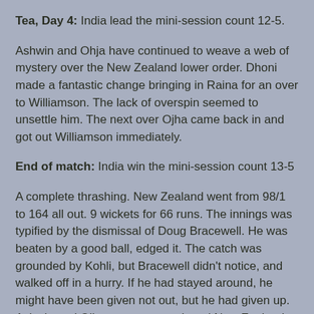Tea, Day 4: India lead the mini-session count 12-5.
Ashwin and Ohja have continued to weave a web of mystery over the New Zealand lower order. Dhoni made a fantastic change bringing in Raina for an over to Williamson. The lack of overspin seemed to unsettle him. The next over Ojha came back in and got out Williamson immediately.
End of match: India win the mini-session count 13-5
A complete thrashing. New Zealand went from 98/1 to 164 all out. 9 wickets for 66 runs. The innings was typified by the dismissal of Doug Bracewell. He was beaten by a good ball, edged it. The catch was grounded by Kohli, but Bracewell didn't notice, and walked off in a hurry. If he had stayed around, he might have been given not out, but he had given up. Ashwin and Ojha were too good, and New Zealand were awful, despite good, fighting knocks from Guptill, McCullum and Williamson.
New Zealand will need to make an enormous improvement...